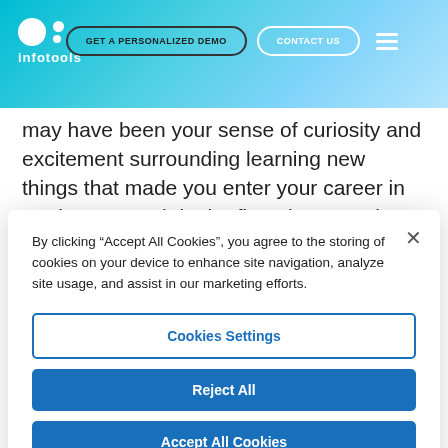INFOTOOLS | GET A PERSONALIZED DEMO | CONTACT US
may have been your sense of curiosity and excitement surrounding learning new things that made you enter your career in market research in the first place. We love the insights that Evette Cordy, author of “Cultivating Curiosity,” shared with us on the topic. This is a skill that can directly impact our jobs and the value we bring to the
By clicking “Accept All Cookies”, you agree to the storing of cookies on your device to enhance site navigation, analyze site usage, and assist in our marketing efforts.
Cookies Settings
Reject All
Accept All Cookies